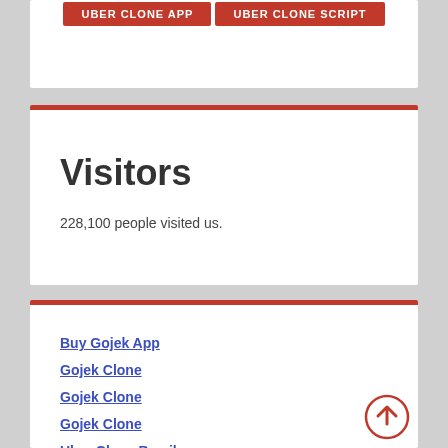uber clone app | uber clone script
Visitors
228,100 people visited us.
Buy Gojek App
Gojek Clone
Gojek Clone
Gojek Clone
Uber Clone Brazil
Gojek Clone Vietnam